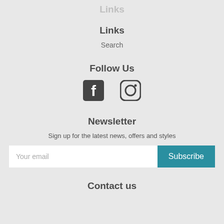Links
Search
Follow Us
[Figure (illustration): Facebook and Instagram social media icons]
Newsletter
Sign up for the latest news, offers and styles
Your email [input field] Subscribe [button]
Contact us